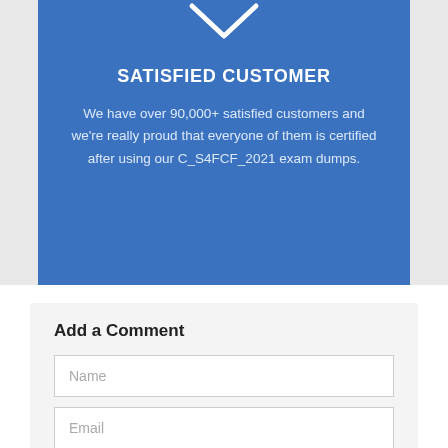[Figure (illustration): White downward-pointing chevron/arrow on blue background]
SATISFIED CUSTOMER
We have over 90,000+ satisfied customers and we're really proud that everyone of them is certified after using our C_S4FCF_2021 exam dumps.
Add a Comment
Name
Email